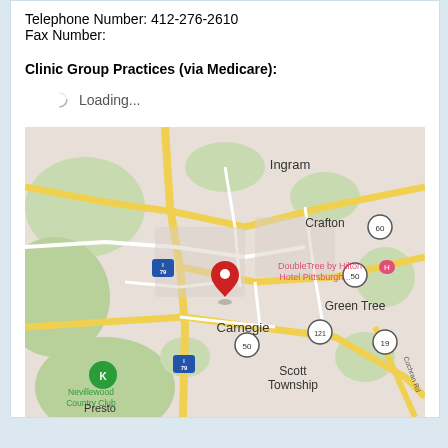Telephone Number: 412-276-2610
Fax Number:
Clinic Group Practices (via Medicare):
Loading...
[Figure (map): Google Maps screenshot centered on Carnegie, PA area showing surrounding neighborhoods including Ingram, Crafton, Green Tree, Scott Township, and Presto. A red location pin marks Carnegie. The DoubleTree by Hilton Hotel Pittsburgh is labeled nearby. Route markers shown include I-79, Route 60, Route 50, Route 121, and Route 19. Nevillewood Country Club is shown in the lower left.]